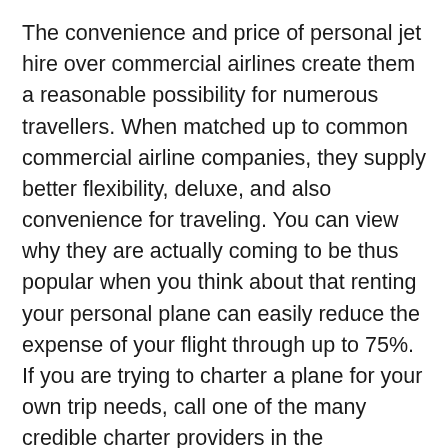The convenience and price of personal jet hire over commercial airlines create them a reasonable possibility for numerous travellers. When matched up to common commercial airline companies, they supply better flexibility, deluxe, and also convenience for traveling. You can view why they are actually coming to be thus popular when you think about that renting your personal plane can easily reduce the expense of your flight through up to 75%. If you are trying to charter a plane for your own trip needs, call one of the many credible charter providers in the aeronautics sector today. You ensure to find the best tour and also service that are right for you.